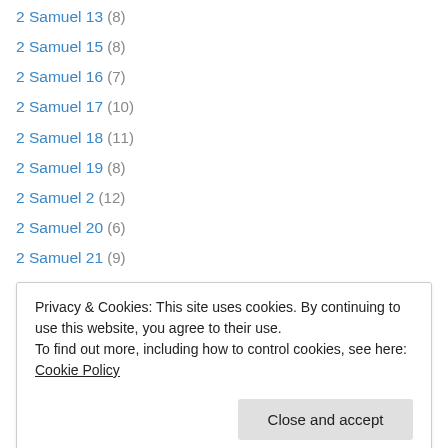2 Samuel 13 (8)
2 Samuel 15 (8)
2 Samuel 16 (7)
2 Samuel 17 (10)
2 Samuel 18 (11)
2 Samuel 19 (8)
2 Samuel 2 (12)
2 Samuel 20 (6)
2 Samuel 21 (9)
2 Samuel 23 (11)
2 Samuel 24 (9)
2 Samuel 3 (12)
2 Samuel 4 (9)
Privacy & Cookies: This site uses cookies. By continuing to use this website, you agree to their use. To find out more, including how to control cookies, see here: Cookie Policy
2 Timothy 2 (9)
2 Timothy 3 (14)